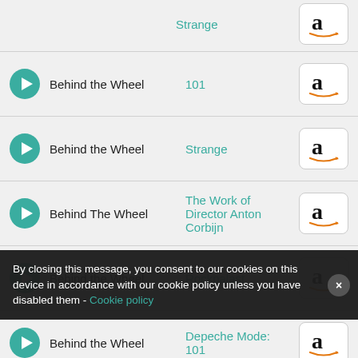Behind the Wheel — Strange (partial top row)
Behind the Wheel — 101
Behind the Wheel — Strange
Behind The Wheel — The Work of Director Anton Corbijn
Behind the Wheel — Rockpalast
Behind the Wheel — Depeche Mode: 101
Behind the Wheel — Depeche Mode: Strange
By closing this message, you consent to our cookies on this device in accordance with our cookie policy unless you have disabled them - Cookie policy
Behind the Wheel — You On Our (Beatmasters Mix) (partial)
Black Celebration — 101 (partial)